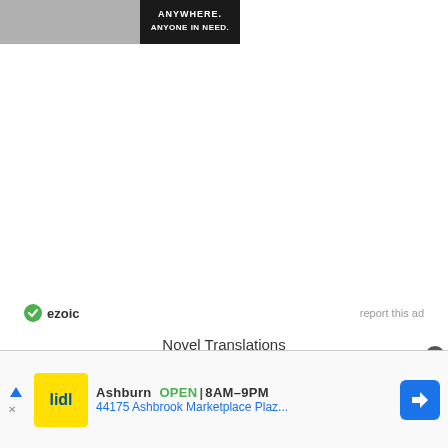[Figure (photo): Top advertisement banner with dark background showing delivery worker with text ANYWHERE. ANYONE IN NEED.]
[Figure (logo): Ezoic logo with green circle checkmark icon and 'ezoic' text, alongside 'report this ad' link]
Novel Translations
Proudly powered by WordPress | Theme: DailyMag by UpThemes.
[Figure (photo): Bottom advertisement for Lidl store in Ashburn showing OPEN 8AM-9PM, 44175 Ashbrook Marketplace Plaz... with yellow Lidl logo and blue navigation arrow]